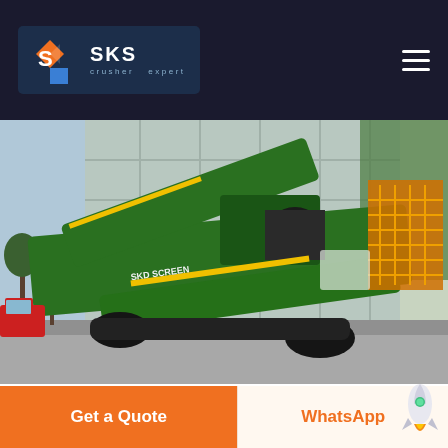SKS crusher expert
[Figure (photo): Green mobile screening/crushing machine (SKD Screener) parked in front of a modern building with glass facade. The large industrial machine is green and yellow, mounted on tracks, with multiple conveyor belts and mechanical components visible.]
in collaboration with the SAIMM Western Cape Branch is Africa
Get a Quote
WhatsApp